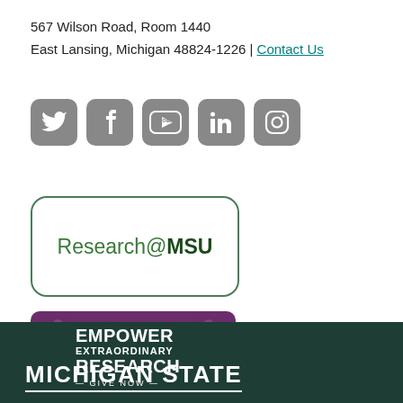567 Wilson Road, Room 1440
East Lansing, Michigan 48824-1226 | Contact Us
[Figure (infographic): Row of five social media icons: Twitter, Facebook, YouTube, LinkedIn, Instagram — all in gray rounded-square style]
[Figure (logo): Research@MSU logo in a rounded rectangle border with green text]
[Figure (infographic): Purple banner with white text reading EMPOWER EXTRAORDINARY RESEARCH GIVE NOW with decorative wheat/laurel graphic elements]
MICHIGAN STATE